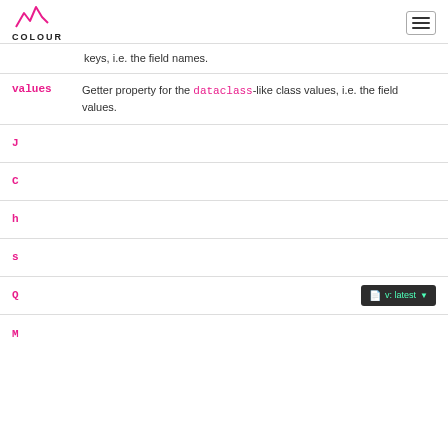COLOUR
keys, i.e. the field names.
values — Getter property for the dataclass-like class values, i.e. the field values.
J
C
h
s
Q
M